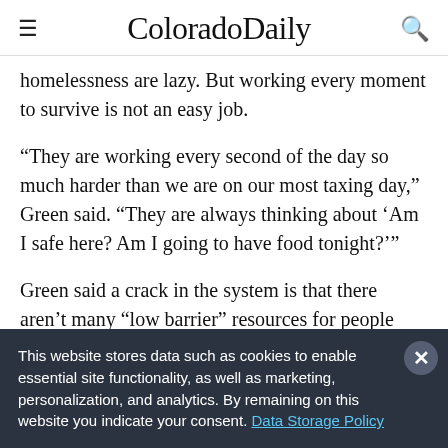ColoradoDaily
homelessness are lazy. But working every moment to survive is not an easy job.
“They are working every second of the day so much harder than we are on our most taxing day,” Green said. “They are always thinking about ‘Am I safe here? Am I going to have food tonight?’”
Green said a crack in the system is that there aren’t many “low barrier” resources for people experiencing
This website stores data such as cookies to enable essential site functionality, as well as marketing, personalization, and analytics. By remaining on this website you indicate your consent. Data Storage Policy